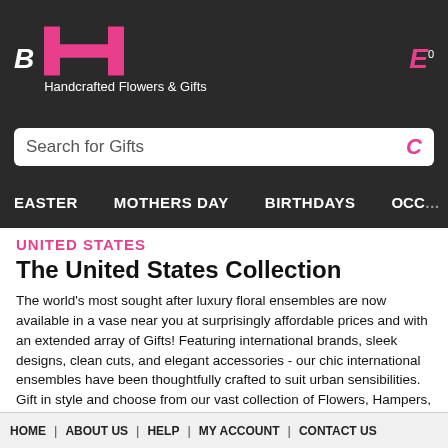B | Handcrafted Flowers & Gifts | E 0
Search for Gifts
EASTER   MOTHERS DAY   BIRTHDAYS   OCCA
UNITED STATES
The United States Collection
The world's most sought after luxury floral ensembles are now available in a vase near you at surprisingly affordable prices and with an extended array of Gifts! Featuring international brands, sleek designs, clean cuts, and elegant accessories - our chic international ensembles have been thoughtfully crafted to suit urban sensibilities. Gift in style and choose from our vast collection of Flowers, Hampers, Soft Toys, Perfumes etc.
How do i send International Flower Delivery to
HOME | ABOUT US | HELP | MY ACCOUNT | CONTACT US